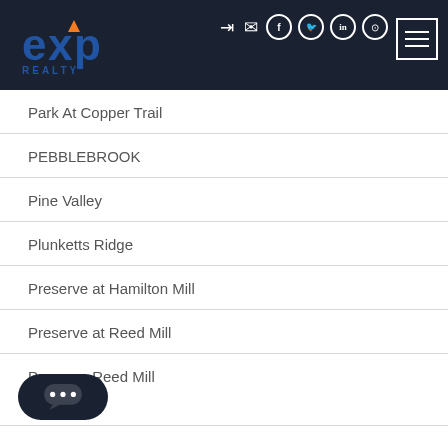[Figure (logo): eXp Realty logo in blue and orange on dark background header]
Park At Copper Trail
PEBBLEBROOK
Pine Valley
Plunketts Ridge
Preserve at Hamilton Mill
Preserve at Reed Mill
Preserve Reed Mill
Providence Crossing